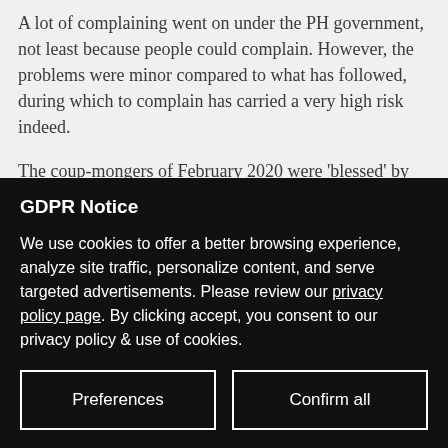A lot of complaining went on under the PH government, not least because people could complain. However, the problems were minor compared to what has followed, during which to complain has carried a very high risk indeed.
The coup-mongers of February 2020 were 'blessed' by the [text cut off]
GDPR Notice
We use cookies to offer a better browsing experience, analyze site traffic, personalize content, and serve targeted advertisements. Please review our privacy policy page. By clicking accept, you consent to our privacy policy & use of cookies.
Preferences
Confirm all